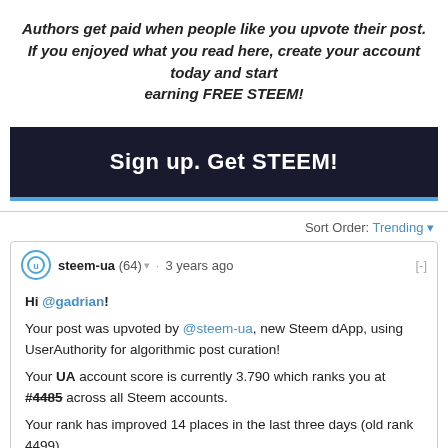Authors get paid when people like you upvote their post. If you enjoyed what you read here, create your account today and start earning FREE STEEM!
[Figure (other): Dark button with text 'Sign up. Get STEEM!' with blue bottom border]
Sort Order: Trending
steem-ua (64) · 3 years ago [-]
Hi @gadrian! Your post was upvoted by @steem-ua, new Steem dApp, using UserAuthority for algorithmic post curation! Your UA account score is currently 3.790 which ranks you at #4485 across all Steem accounts. Your rank has improved 14 places in the last three days (old rank 4499). In our last Algorithmic Curation Round, consisting of 202 contributions, your post is ranked at #187. Evaluation of your UA score: